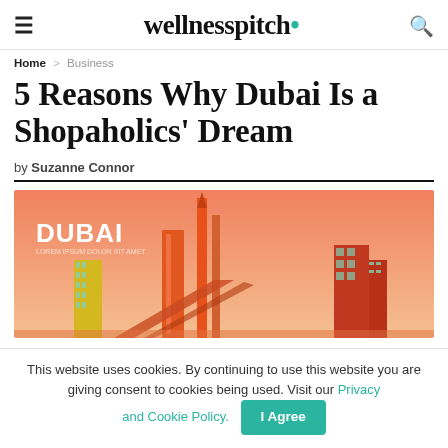wellnesspitch
Home > Business
5 Reasons Why Dubai Is a Shopaholics' Dream
by Suzanne Connor
[Figure (illustration): Stylized illustration of Dubai skyline with skyscrapers on a warm orange-pink gradient background. Text overlay reads DUBAI LOREM IPSUM DOLOR SIT AMET.]
This website uses cookies. By continuing to use this website you are giving consent to cookies being used. Visit our Privacy and Cookie Policy.  I Agree